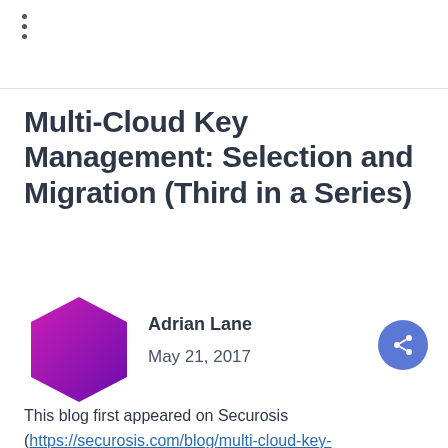⋮
Multi-Cloud Key Management: Selection and Migration (Third in a Series)
[Figure (illustration): Magenta/purple hexagon avatar icon for author Adrian Lane]
Adrian Lane
May 21, 2017
This blog first appeared on Securosis (https://securosis.com/blog/multi-cloud-key-management-selection-and-migration ↗ )